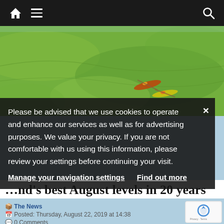Navigation bar with home icon, hamburger menu, and search icon
[Figure (photo): Aerial view of green water with kayakers visible from above]
Please be advised that we use cookies to operate and enhance our services as well as for advertising purposes. We value your privacy. If you are not comfortable with us using this information, please review your settings before continuing your visit.
Manage your navigation settings
Find out more
...nd's best August levels in 20 years
The News
Posted: Thursday, August 22, 2019 at 14:38
0 Comments